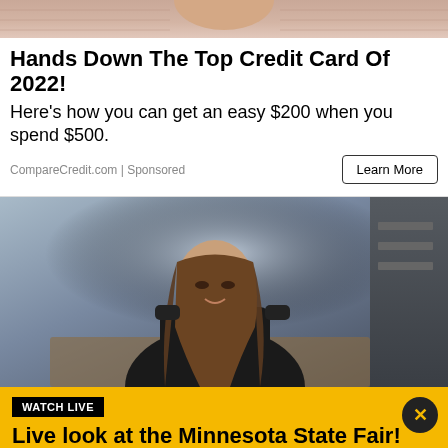[Figure (photo): Partial top of a person wearing a pink/mauve knit sweater, cropped at neck/chin level]
Hands Down The Top Credit Card Of 2022!
Here's how you can get an easy $200 when you spend $500.
CompareCredit.com | Sponsored
[Figure (photo): A young woman with long brown hair wearing a dark blazer, smiling and looking down, in an office/showroom environment]
WATCH LIVE
Live look at the Minnesota State Fair!
Watch FOX 9's live camera near the Giant Slide at the Great Minnesota Get-Together.